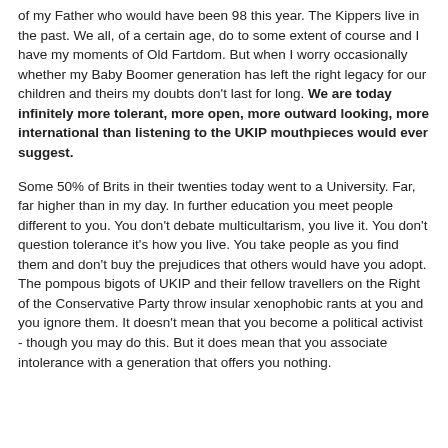of my Father who would have been 98 this year. The Kippers live in the past. We all, of a certain age, do to some extent of course and I have my moments of Old Fartdom. But when I worry occasionally whether my Baby Boomer generation has left the right legacy for our children and theirs my doubts don't last for long. We are today infinitely more tolerant, more open, more outward looking, more international than listening to the UKIP mouthpieces would ever suggest.
Some 50% of Brits in their twenties today went to a University. Far, far higher than in my day. In further education you meet people different to you. You don't debate multicultarism, you live it. You don't question tolerance it's how you live. You take people as you find them and don't buy the prejudices that others would have you adopt. The pompous bigots of UKIP and their fellow travellers on the Right of the Conservative Party throw insular xenophobic rants at you and you ignore them. It doesn't mean that you become a political activist - though you may do this. But it does mean that you associate intolerance with a generation that offers you nothing.